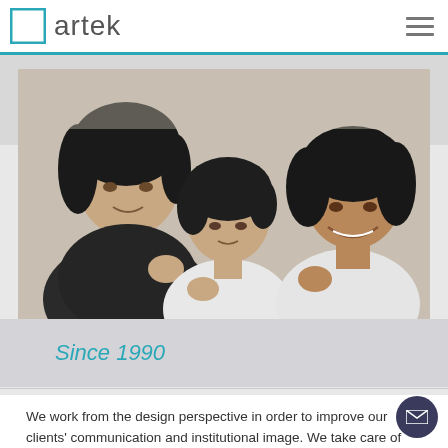artek
[Figure (photo): Black and white photograph of three people (two men and a woman) posing together, all making a hand gesture toward the camera]
Since 1990
We work from the design perspective in order to improve our clients' communication and institutional image. We take care of every detail so as to create suitable brand positioning, essential